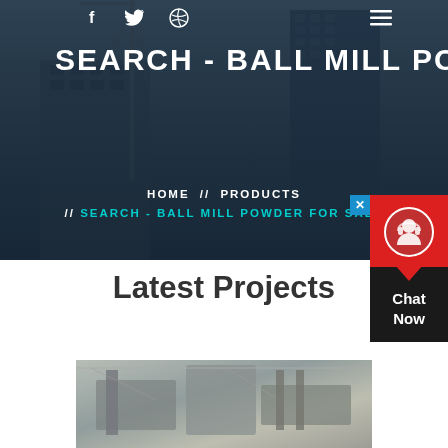[Figure (photo): Dark overlay photo of construction site with cranes and high-rise buildings under construction, used as hero banner background]
f  twitter  dribbble  (menu icon)
SEARCH - BALL MILL POWDER F
HOME  //  PRODUCTS  //  SEARCH - BALL MILL POWDER FOR SALE
[Figure (infographic): Red chat widget with headset avatar icon, downward pointing chevron, and 'Chat Now' text on dark background]
Latest Projects
[Figure (photo): Industrial machinery/equipment photo showing large mechanical structures inside a facility]